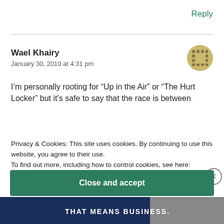Reply
Wael Khairy
January 30, 2010 at 4:31 pm
I’m personally rooting for “Up in the Air” or “The Hurt Locker” but it’s safe to say that the race is between
Privacy & Cookies: This site uses cookies. By continuing to use this website, you agree to their use.
To find out more, including how to control cookies, see here:
Cookie Policy
Close and accept